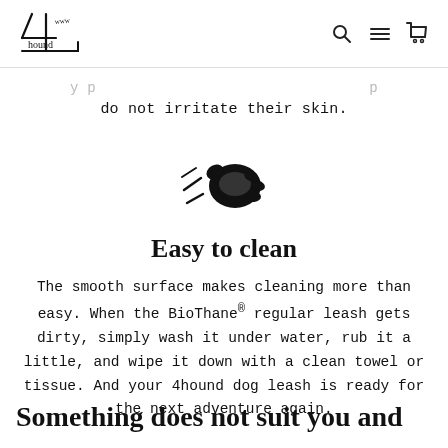4hound [logo with navigation icons: search, menu, cart]
do not irritate their skin.
[Figure (illustration): Icon of a hand wiping/cleaning with motion lines, black on white]
Easy to clean
The smooth surface makes cleaning more than easy. When the BioThane® regular leash gets dirty, simply wash it under water, rub it a little, and wipe it down with a clean towel or tissue. And your 4hound dog leash is ready for the next adventure again.
Something does not suit you and